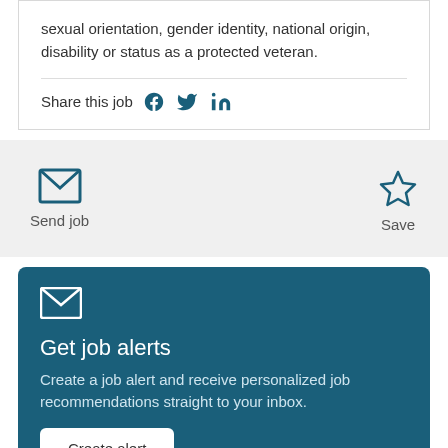sexual orientation, gender identity, national origin, disability or status as a protected veteran.
Share this job
[Figure (infographic): Send job button with envelope icon and Save button with star icon]
[Figure (infographic): Get job alerts card with envelope icon, title, description, and Create alert button]
Get job alerts
Create a job alert and receive personalized job recommendations straight to your inbox.
Create alert